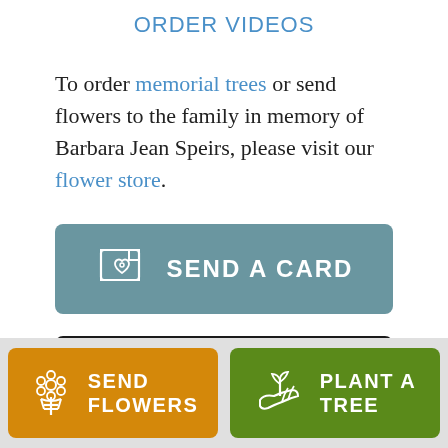ORDER VIDEOS
To order memorial trees or send flowers to the family in memory of Barbara Jean Speirs, please visit our flower store.
[Figure (other): Send a Card button with card icon]
[Figure (other): Video strip/thumbnail area, dark background]
[Figure (other): Bottom bar with Send Flowers (orange) and Plant a Tree (green) buttons]